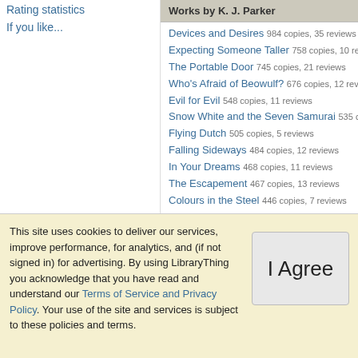Rating statistics
If you like...
Works by K. J. Parker
Devices and Desires 984 copies, 35 reviews
Expecting Someone Taller 758 copies, 10 reviews
The Portable Door 745 copies, 21 reviews
Who's Afraid of Beowulf? 676 copies, 12 reviews
Evil for Evil 548 copies, 11 reviews
Snow White and the Seven Samurai 535 cop...
Flying Dutch 505 copies, 5 reviews
Falling Sideways 484 copies, 12 reviews
In Your Dreams 468 copies, 11 reviews
The Escapement 467 copies, 13 reviews
Colours in the Steel 446 copies, 7 reviews
This site uses cookies to deliver our services, improve performance, for analytics, and (if not signed in) for advertising. By using LibraryThing you acknowledge that you have read and understand our Terms of Service and Privacy Policy. Your use of the site and services is subject to these policies and terms.